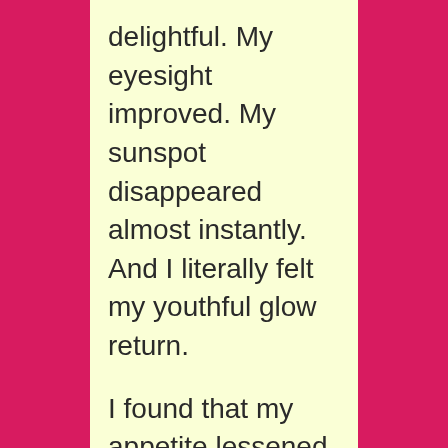delightful. My eyesight improved. My sunspot disappeared almost instantly. And I literally felt my youthful glow return.
I found that my appetite lessened and her program is a lovely support to weight loss too.
Valerie has a special talent and she is wonderful to work with and listen in on however one chooses to access